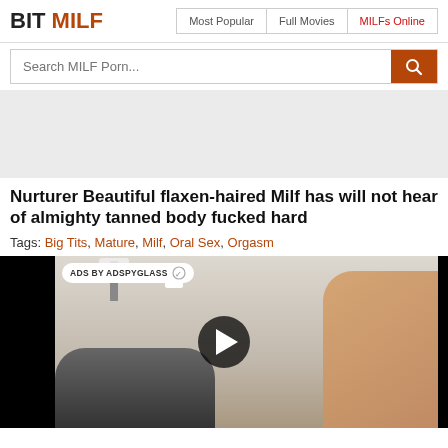BIT MILF | Most Popular | Full Movies | MILFs Online
Search MILF Porn...
Nurturer Beautiful flaxen-haired Milf has will not hear of almighty tanned body fucked hard
Tags: Big Tits, Mature, Milf, Oral Sex, Orgasm
[Figure (screenshot): Video player thumbnail showing a bedroom scene with a blonde woman, with a play button overlay and ADS BY ADSPYGLASS badge]